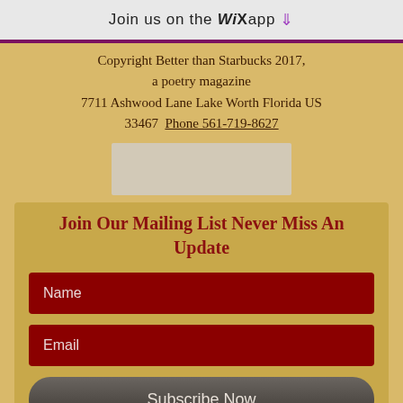Join us on the WiX app ⬇
Copyright Better than Starbucks 2017, a poetry magazine
7711 Ashwood Lane Lake Worth Florida US 33467  Phone 561-719-8627
[Figure (other): Light gray rectangular image placeholder]
Join Our Mailing List Never Miss An Update
Name
Email
Subscribe Now
Donate